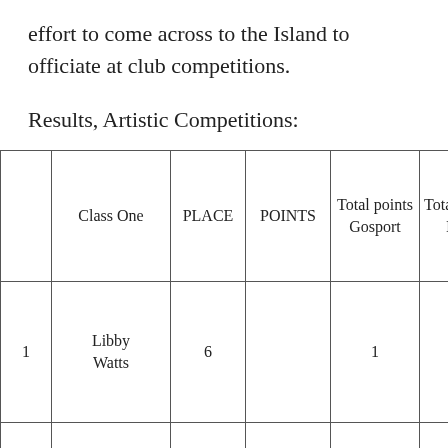effort to come across to the Island to officiate at club competitions.
Results, Artistic Competitions:
|  | Class One | PLACE | POINTS | Total points Gosport | Total points IOW |  |
| --- | --- | --- | --- | --- | --- | --- |
| 1 | Libby Watts | 6 |  | 1 |  |  |
|  |  |  |  |  |  |  |